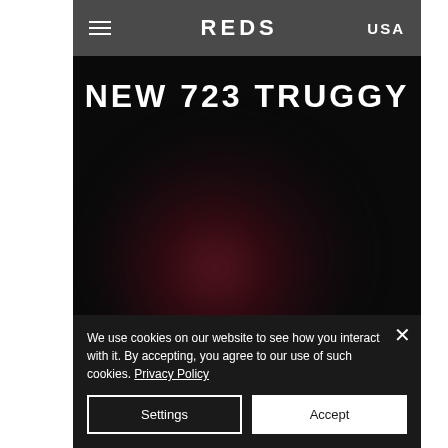REDS USA
NEW 723 TRUGGY
[Figure (photo): Dark blurred image of an RC truggy vehicle (REDS 723 Truggy) with a reddish-dark tone against a black background]
We use cookies on our website to see how you interact with it. By accepting, you agree to our use of such cookies. Privacy Policy
Settings
Accept